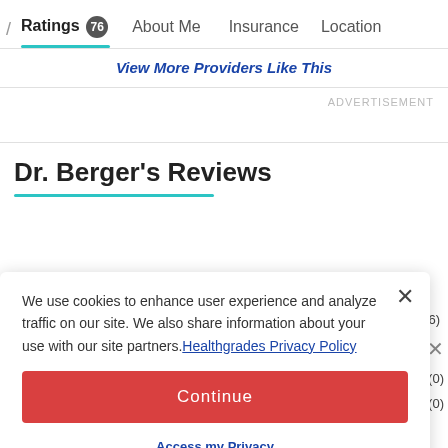/ Ratings 76  About Me  Insurance  Location
View More Providers Like This
ADVERTISEMENT
Dr. Berger's Reviews
We use cookies to enhance user experience and analyze traffic on our site. We also share information about your use with our site partners. Healthgrades Privacy Policy
Continue
Access my Privacy Preferences
(76)
(0)
(0)
(0)
1 Star